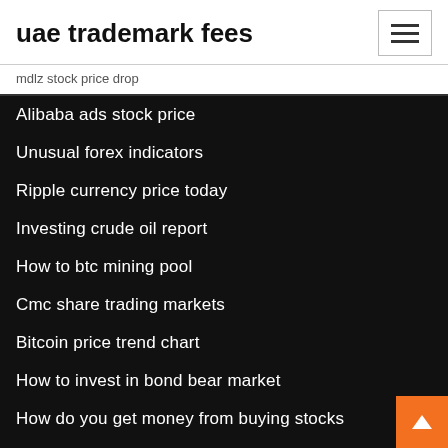uae trademark fees
mdlz stock price drop
Alibaba ads stock price
Unusual forex indicators
Ripple currency price today
Investing crude oil report
How to btc mining pool
Cmc share trading markets
Bitcoin price trend chart
How to invest in bond bear market
How do you get money from buying stocks
What stocks to invest in november 2020